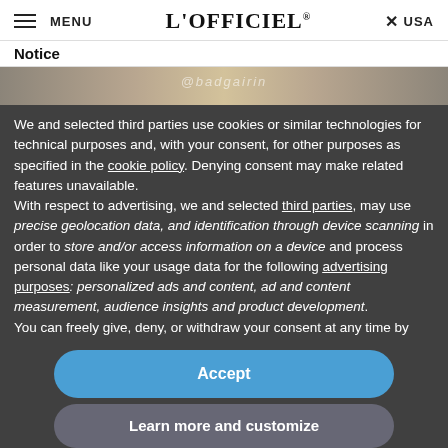≡ MENU   L'OFFICIEL®   × USA
Notice
We and selected third parties use cookies or similar technologies for technical purposes and, with your consent, for other purposes as specified in the cookie policy. Denying consent may make related features unavailable.
With respect to advertising, we and selected third parties, may use precise geolocation data, and identification through device scanning in order to store and/or access information on a device and process personal data like your usage data for the following advertising purposes: personalized ads and content, ad and content measurement, audience insights and product development.
You can freely give, deny, or withdraw your consent at any time by
restrictions, spending summer the correct way means traveling. However, packing can be stressful, especially on longer international trips with limited suitcase room. You may be wondering: Is there enough room for all of my makeup products? The answer is, probably not. But fear not, for every full-sized beauty product there is a travel-